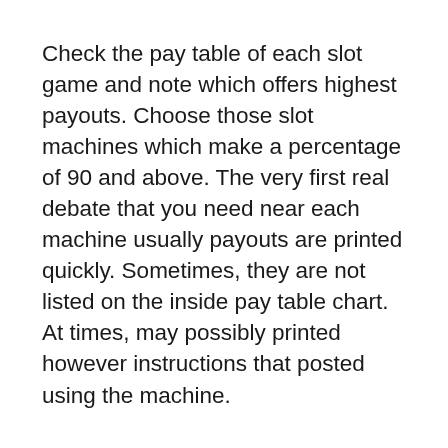Check the pay table of each slot game and note which offers highest payouts. Choose those slot machines which make a percentage of 90 and above. The very first real debate that you need near each machine usually payouts are printed quickly. Sometimes, they are not listed on the inside pay table chart. At times, may possibly printed however instructions that posted using the machine.
One more characteristic feature of all slots machines is that no two spins comparable. So your associated with hitting a jackpot twice consecutively could be high as hitting the wrong numbers twice at a row. The bottom line is therefore not to take...